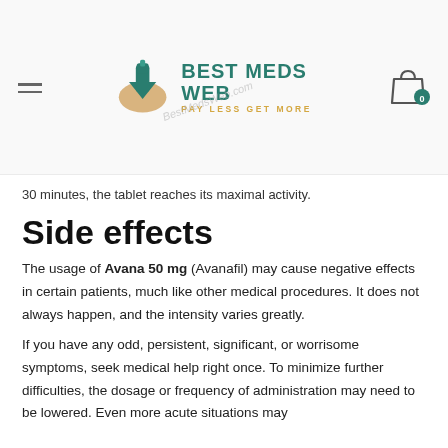BEST MEDS WEB — PAY LESS GET MORE
30 minutes, the tablet reaches its maximal activity.
Side effects
The usage of Avana 50 mg (Avanafil) may cause negative effects in certain patients, much like other medical procedures. It does not always happen, and the intensity varies greatly.
If you have any odd, persistent, significant, or worrisome symptoms, seek medical help right once. To minimize further difficulties, the dosage or frequency of administration may need to be lowered. Even more acute situations may